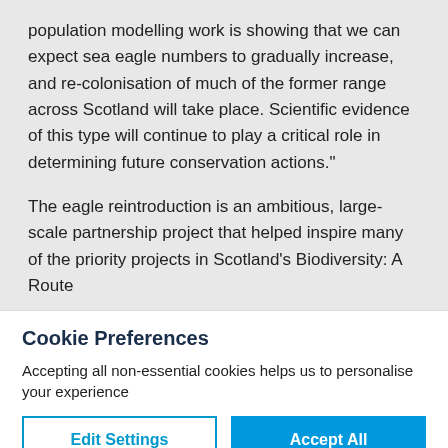population modelling work is showing that we can expect sea eagle numbers to gradually increase, and re-colonisation of much of the former range across Scotland will take place. Scientific evidence of this type will continue to play a critical role in determining future conservation actions."
The eagle reintroduction is an ambitious, large-scale partnership project that helped inspire many of the priority projects in Scotland's Biodiversity: A Route
Cookie Preferences
Accepting all non-essential cookies helps us to personalise your experience
Edit Settings
Accept All